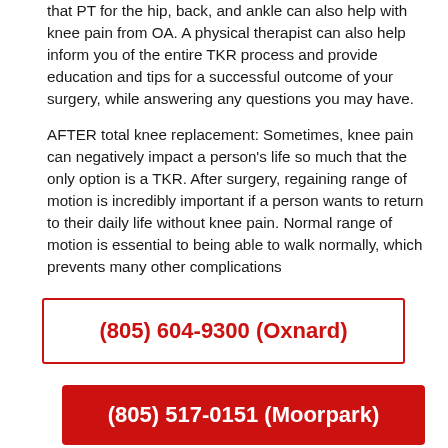that PT for the hip, back, and ankle can also help with knee pain from OA. A physical therapist can also help inform you of the entire TKR process and provide education and tips for a successful outcome of your surgery, while answering any questions you may have.

AFTER total knee replacement: Sometimes, knee pain can negatively impact a person's life so much that the only option is a TKR. After surgery, regaining range of motion is incredibly important if a person wants to return to their daily life without knee pain. Normal range of motion is essential to being able to walk normally, which prevents many other complications
(805) 604-9300 (Oxnard)
(805) 517-0151 (Moorpark)